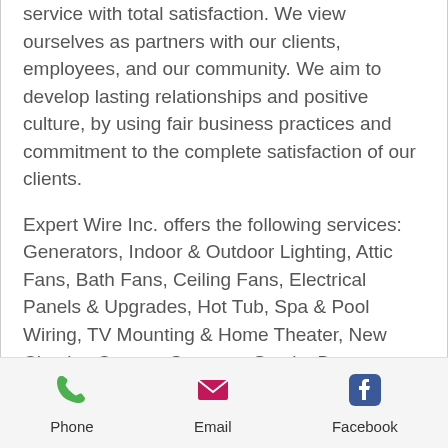service with total satisfaction. We view ourselves as partners with our clients, employees, and our community. We aim to develop lasting relationships and positive culture, by using fair business practices and commitment to the complete satisfaction of our clients.
Expert Wire Inc. offers the following services: Generators, Indoor & Outdoor Lighting, Attic Fans, Bath Fans, Ceiling Fans, Electrical Panels & Upgrades, Hot Tub, Spa & Pool Wiring, TV Mounting & Home Theater, New Circuits, Camera Systems, Smoke Detectors, Switch & Receptacle repair and installation and much more.
[Figure (infographic): Footer bar with three icon buttons: Phone (green phone icon), Email (pink envelope icon), Facebook (blue Facebook icon)]